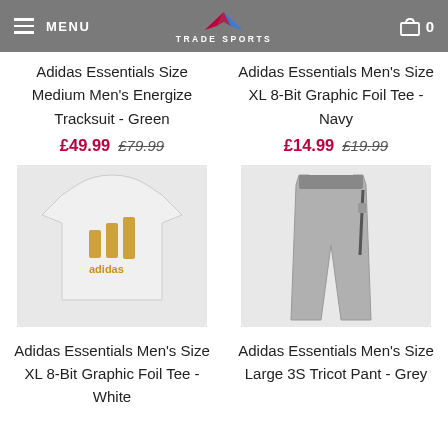MENU | TRADE SPORTS | 0
Adidas Essentials Size Medium Men's Energize Tracksuit - Green
£49.99 £79.99
Adidas Essentials Men's Size XL 8-Bit Graphic Foil Tee - Navy
£14.99 £19.99
[Figure (photo): White Adidas t-shirt with gold adidas badge of sport logo on light grey background]
[Figure (photo): Grey Adidas tricot pants on light grey background]
Adidas Essentials Men's Size XL 8-Bit Graphic Foil Tee - White
Adidas Essentials Men's Size Large 3S Tricot Pant - Grey